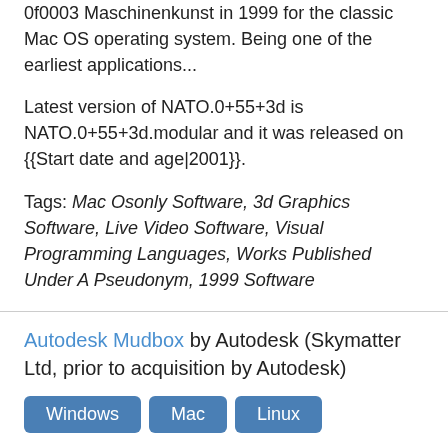0f0003 Maschinenkunst in 1999 for the classic Mac OS operating system. Being one of the earliest applications...
Latest version of NATO.0+55+3d is NATO.0+55+3d.modular and it was released on {{Start date and age|2001}}.
Tags: Mac Osonly Software, 3d Graphics Software, Live Video Software, Visual Programming Languages, Works Published Under A Pseudonym, 1999 Software
Autodesk Mudbox by Autodesk (Skymatter Ltd, prior to acquisition by Autodesk)
Windows Mac Linux
Mudbox is a proprietary computer-based 3D sculpting and painting tool. developed by Autodesk, Mudbox was created by